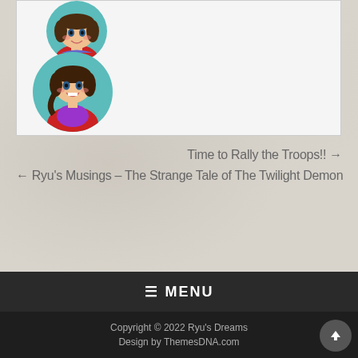[Figure (illustration): Two anime-style chibi character avatar illustrations stacked vertically inside a white content box. Both characters have brown hair and wear red outfits with blue/purple armor accents. The top avatar is cropped showing upper portion, the bottom shows a full circle portrait.]
Time to Rally the Troops!! →
← Ryu's Musings – The Strange Tale of The Twilight Demon
≡ MENU
Copyright © 2022 Ryu's Dreams
Design by ThemesDNA.com